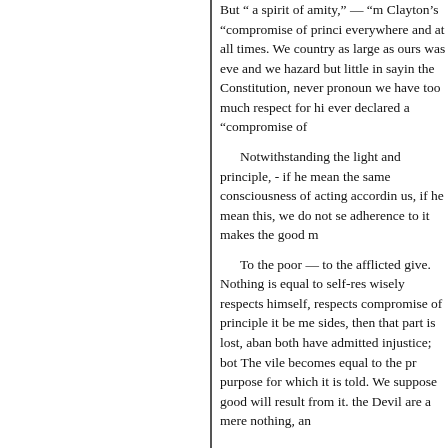But " a spirit of amity," — "m Clayton's "compromise of princi everywhere and at all times. We country as large as ours was eve and we hazard but little in sayin the Constitution, never pronoun we have too much respect for hi ever declared a "compromise of

Notwithstanding the light and principle, - if he mean the same consciousness of acting accordin us, if he mean this, we do not se adherence to it makes the good m

To the poor — to the afflicted give. Nothing is equal to self-res wisely respects himself, respects compromise of principle it be me sides, then that part is lost, aban both have admitted injustice; bot The vile becomes equal to the pr purpose for which it is told. We suppose good will result from it. the Devil are a mere nothing, an